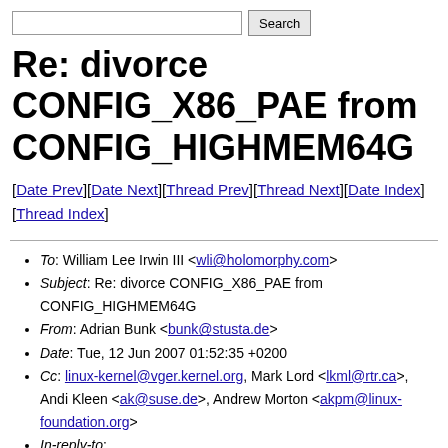Re: divorce CONFIG_X86_PAE from CONFIG_HIGHMEM64G
[Date Prev][Date Next][Thread Prev][Thread Next][Date Index][Thread Index]
To: William Lee Irwin III <wli@holomorphy.com>
Subject: Re: divorce CONFIG_X86_PAE from CONFIG_HIGHMEM64G
From: Adrian Bunk <bunk@stusta.de>
Date: Tue, 12 Jun 2007 01:52:35 +0200
Cc: linux-kernel@vger.kernel.org, Mark Lord <lkml@rtr.ca>, Andi Kleen <ak@suse.de>, Andrew Morton <akpm@linux-foundation.org>
In-reply-to: